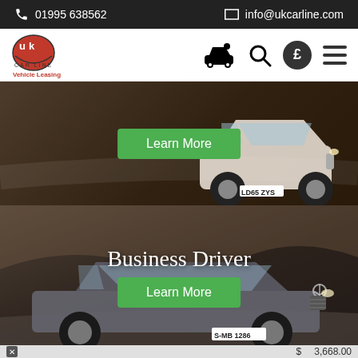01995 638562 | info@ukcarline.com
[Figure (logo): UK Car Line Vehicle Leasing logo with navigation icons]
[Figure (photo): White KIA SUV (LD65 ZYS) on a road with dark overlay and Learn More button]
[Figure (photo): Mercedes-Benz E-Class (S-MB 1286) on a road with Business Driver text and Learn More button]
Business Driver
$ 3,668.00